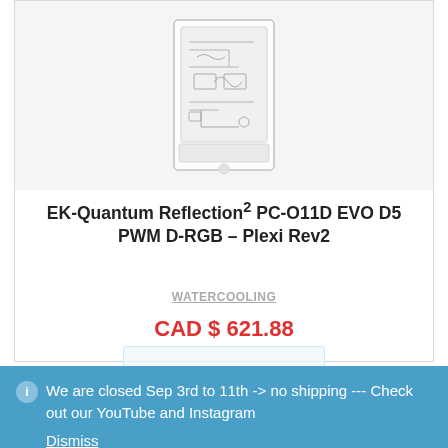[Figure (photo): Product image of EK-Quantum Reflection² PC-O11D EVO D5 PWM D-RGB – Plexi Rev2 water cooling pump/reservoir unit, showing circuit board detail view against white background]
EK-Quantum Reflection² PC-O11D EVO D5 PWM D-RGB – Plexi Rev2
WATERCOOLING
CAD $ 621.88
We are closed Sep 3rd to 11th -> no shipping --- Check out our YouTube and Instagram
Dismiss
Show Me More